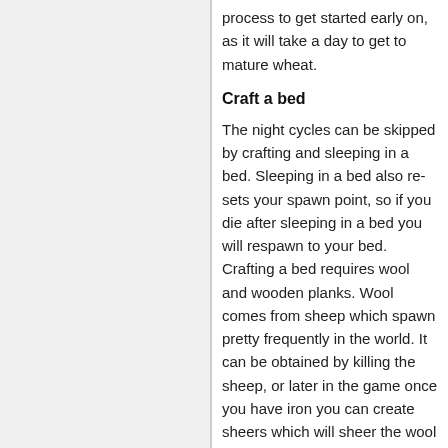process to get started early on, as it will take a day to get to mature wheat.
Craft a bed
The night cycles can be skipped by crafting and sleeping in a bed. Sleeping in a bed also re-sets your spawn point, so if you die after sleeping in a bed you will respawn to your bed. Crafting a bed requires wool and wooden planks. Wool comes from sheep which spawn pretty frequently in the world. It can be obtained by killing the sheep, or later in the game once you have iron you can create sheers which will sheer the wool without killing the sheep.
The sky's the limit